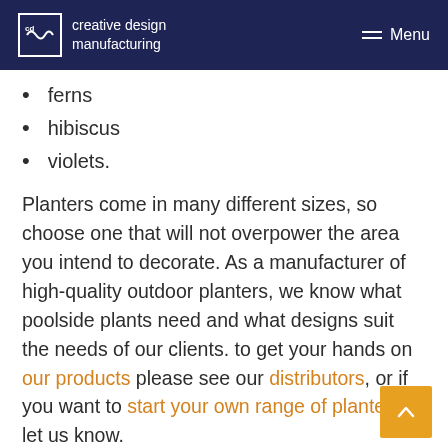creative design manufacturing — Menu
ferns
hibiscus
violets.
Planters come in many different sizes, so choose one that will not overpower the area you intend to decorate. As a manufacturer of high-quality outdoor planters, we know what poolside plants need and what designs suit the needs of our clients. to get your hands on our products please see our distributors, or if you want to start your own range of planters, let us know.
Or if you’re looking for more advice on how to create a commercial garden, take a look at our